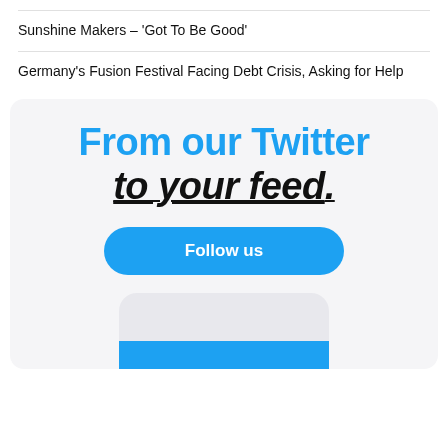Sunshine Makers – 'Got To Be Good'
Germany's Fusion Festival Facing Debt Crisis, Asking for Help
[Figure (infographic): Twitter promotional banner with text 'From our Twitter to your feed.' and a 'Follow us' button, with a phone mockup at the bottom showing a blue bar.]